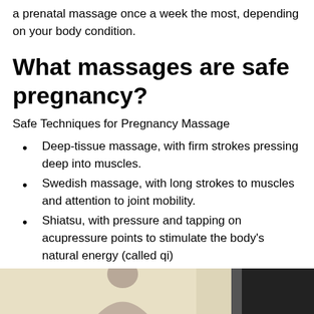a prenatal massage once a week the most, depending on your body condition.
What massages are safe pregnancy?
Safe Techniques for Pregnancy Massage
Deep-tissue massage, with firm strokes pressing deep into muscles.
Swedish massage, with long strokes to muscles and attention to joint mobility.
Shiatsu, with pressure and tapping on acupressure points to stimulate the body's natural energy (called qi)
[Figure (photo): Partial photo of a person, likely a pregnant woman, visible from the waist/chest up with a dark panel on the right side of the image.]